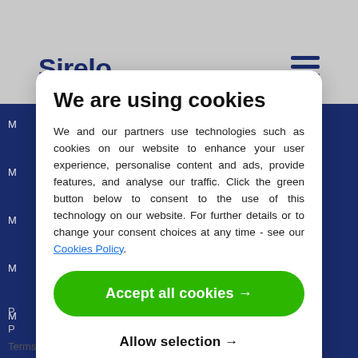Sirelo
We are using cookies
We and our partners use technologies such as cookies on our website to enhance your user experience, personalise content and ads, provide features, and analyse our traffic. Click the green button below to consent to the use of this technology on our website. For further details or to change your consent choices at any time - see our Cookies Policy.
Accept all cookies →
Allow selection →